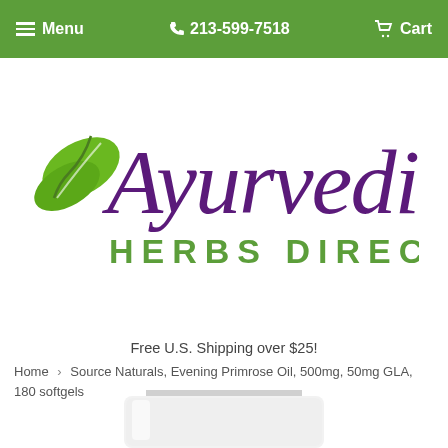Menu  213-599-7518  Cart
[Figure (logo): Ayurvedic Herbs Direct logo with green leaf and purple italic/script text]
Free U.S. Shipping over $25!
Home › Source Naturals, Evening Primrose Oil, 500mg, 50mg GLA, 180 softgels
[Figure (photo): Bottom portion of a white supplement bottle/jar visible at the bottom of the page]